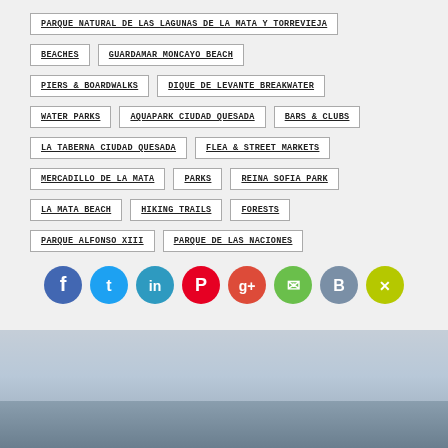PARQUE NATURAL DE LAS LAGUNAS DE LA MATA Y TORREVIEJA
BEACHES
GUARDAMAR MONCAYO BEACH
PIERS & BOARDWALKS
DIQUE DE LEVANTE BREAKWATER
WATER PARKS
AQUAPARK CIUDAD QUESADA
BARS & CLUBS
LA TABERNA CIUDAD QUESADA
FLEA & STREET MARKETS
MERCADILLO DE LA MATA
PARKS
REINA SOFIA PARK
LA MATA BEACH
HIKING TRAILS
FORESTS
PARQUE ALFONSO XIII
PARQUE DE LAS NACIONES
[Figure (infographic): Row of 8 social media share buttons as colored circles: Facebook (blue), Twitter (light blue), LinkedIn (teal), Pinterest (red), Google+ (coral/orange), Email (green), VK (steel blue), Xing (yellow-green)]
[Figure (photo): Coastal landscape photo showing sea, cloudy sky, and dark land silhouette in the foreground]